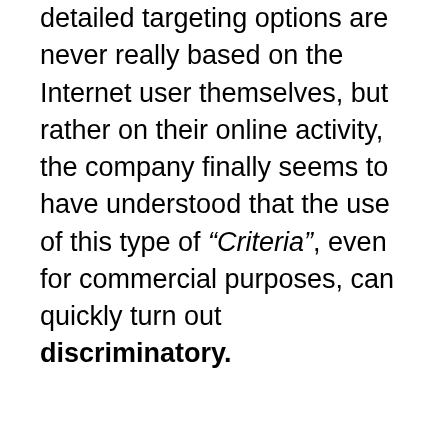detailed targeting options are never really based on the Internet user themselves, but rather on their online activity, the company finally seems to have understood that the use of this type of “Criteria”, even for commercial purposes, can quickly turn out discriminatory.